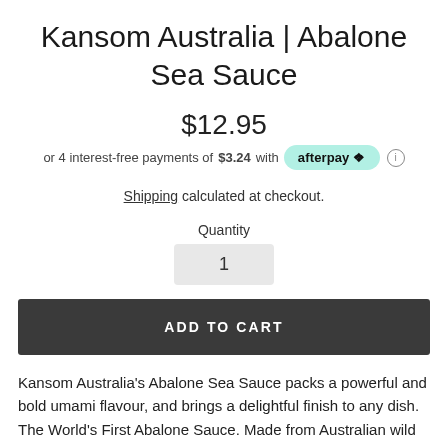Kansom Australia | Abalone Sea Sauce
$12.95
or 4 interest-free payments of $3.24 with afterpay ℹ
Shipping calculated at checkout.
Quantity
1
ADD TO CART
Kansom Australia's Abalone Sea Sauce packs a powerful and bold umami flavour, and brings a delightful finish to any dish. The World's First Abalone Sauce. Made from Australian wild...